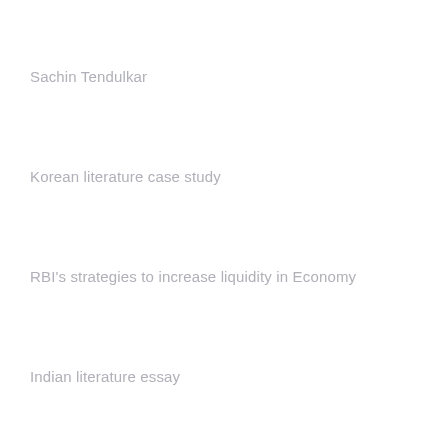Sachin Tendulkar
Korean literature case study
RBI's strategies to increase liquidity in Economy
Indian literature essay